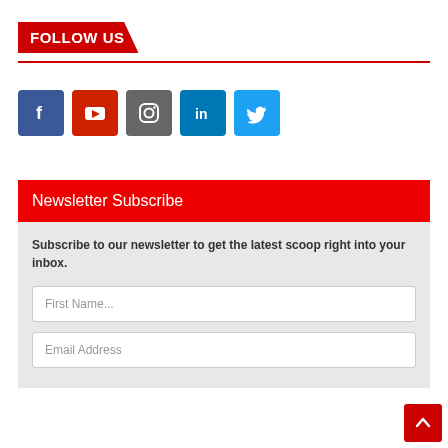FOLLOW US
[Figure (infographic): Row of five social media icon buttons: Facebook (blue), YouTube (red), Instagram (gray), LinkedIn (blue), Twitter (light blue)]
Newsletter Subscribe
Subscribe to our newsletter to get the latest scoop right into your inbox.
First Name...
Email Address